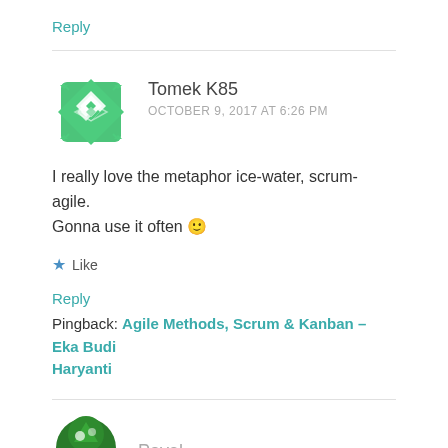Reply
Tomek K85
OCTOBER 9, 2017 AT 6:26 PM
I really love the metaphor ice-water, scrum-agile. Gonna use it often 🙂
Like
Reply
Pingback: Agile Methods, Scrum & Kanban – Eka Budi Haryanti